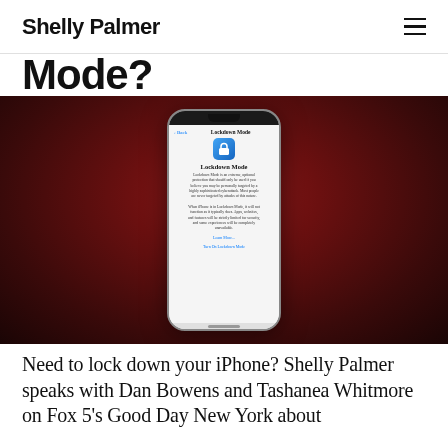Shelly Palmer
Mode?
[Figure (photo): iPhone displaying Lockdown Mode settings screen, shown against a dark red radial gradient background]
Need to lock down your iPhone? Shelly Palmer speaks with Dan Bowens and Tashanea Whitmore on Fox 5's Good Day New York about